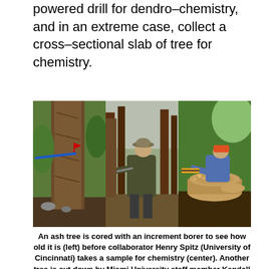powered drill for dendro–chemistry, and in an extreme case, collect a cross–sectional slab of tree for chemistry.
[Figure (photo): Three photographs showing tree coring and sampling: left shows an ash tree trunk with an increment borer (blue tool visible), center shows collaborator Henry Spitz taking a chemistry sample, right shows Miami University staff member Kendall Hauer cutting down a tree to collect a cross section.]
An ash tree is cored with an increment borer to see how old it is (left) before collaborator Henry Spitz (University of Cincinnati) takes a sample for chemistry (center). Another tree is cut down by Miami University staff member Kendall Hauer to collect a cross section (right).
I dated the cores by cross correlation with the